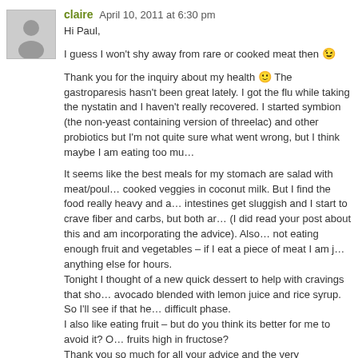claire April 10, 2011 at 6:30 pm
Hi Paul,

I guess I won't shy away from rare or cooked meat then 😉

Thank you for the inquiry about my health 🙂 The gastroparesis hasn't been great lately. I got the flu while taking the nystatin and I haven't really recovered. I started symbion (the non-yeast containing version of threelac) and other probiotics but I'm not quite sure what went wrong, but I think maybe I am eating too mu…

It seems like the best meals for my stomach are salad with meat/poul… cooked veggies in coconut milk. But I find the food really heavy and a… intestines get sluggish and I start to crave fiber and carbs, but both ar… (I did read your post about this and am incorporating the advice). Also… not eating enough fruit and vegetables – if I eat a piece of meat I am j… anything else for hours.
Tonight I thought of a new quick dessert to help with cravings that sho… avocado blended with lemon juice and rice syrup. So I'll see if that he… difficult phase.
I also like eating fruit – but do you think its better for me to avoid it? O… fruits high in fructose?
Thank you so much for all your advice and the very informative blog! S… getting my family to move to a healthier diet 🙂
All the best, Claire
Paul Jaminet April 10, 2011 at 6:46 pm
Hi Claire,